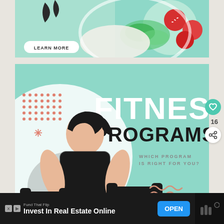[Figure (photo): Food/salad bowl advertisement with mint green background and a Learn More button]
[Figure (photo): Fitness Programs advertisement with a woman holding dumbbells on a mint green background. Text reads FITNESS PROGRAMS - WHICH PROGRAM IS RIGHT FOR YOU?]
WHAT'S NEXT → Blog
16
Fund That Flip
Invest In Real Estate Online
OPEN